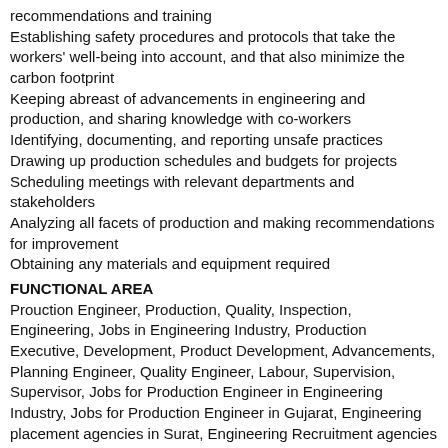recommendations and training
Establishing safety procedures and protocols that take the workers' well-being into account, and that also minimize the carbon footprint
Keeping abreast of advancements in engineering and production, and sharing knowledge with co-workers
Identifying, documenting, and reporting unsafe practices
Drawing up production schedules and budgets for projects
Scheduling meetings with relevant departments and stakeholders
Analyzing all facets of production and making recommendations for improvement
Obtaining any materials and equipment required
FUNCTIONAL AREA
Prouction Engineer, Production, Quality, Inspection, Engineering, Jobs in Engineering Industry, Production Executive, Development, Product Development, Advancements, Planning Engineer, Quality Engineer, Labour, Supervision, Supervisor, Jobs for Production Engineer in Engineering Industry, Jobs for Production Engineer in Gujarat, Engineering placement agencies in Surat, Engineering Recruitment agencies in Surat, Engineering placement agencies in Gujarat, Engineering Recruitment agencies in Gujarat, Engineering placement agencies in India, Engineering Recruitment agencies in India, placement consultancy in Surat, best placement consultancy in Surat,